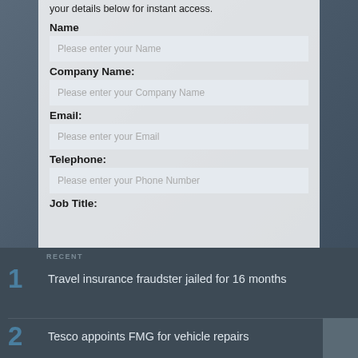your details below for instant access.
Name
Please enter your Name
Company Name:
Please enter your Company Name
Email:
Please enter your Email
Telephone:
Please enter your Phone Number
Job Title:
RECENT
1  Travel insurance fraudster jailed for 16 months
2  Tesco appoints FMG for vehicle repairs